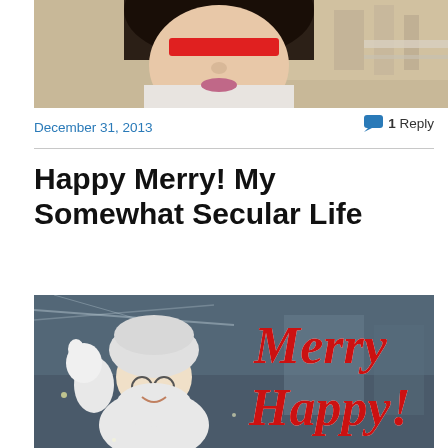[Figure (photo): Partial photo of a woman with dark hair, face redacted with a red bar, street scene background]
December 31, 2013
1 Reply
Happy Merry! My Somewhat Secular Life
[Figure (photo): Photo of a man dressed in white fluffy costume like Santa, waving, with colorful 'Merry Happy!' text overlay]